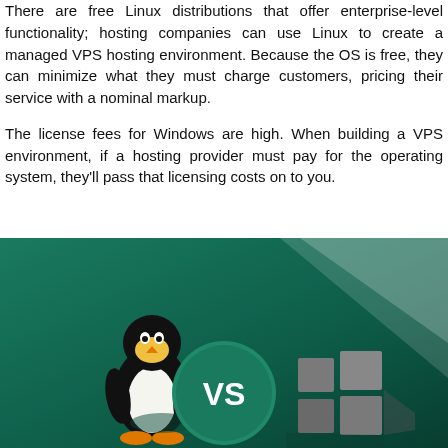There are free Linux distributions that offer enterprise-level functionality; hosting companies can use Linux to create a managed VPS hosting environment. Because the OS is free, they can minimize what they must charge customers, pricing their service with a nominal markup.
The license fees for Windows are high. When building a VPS environment, if a hosting provider must pay for the operating system, they'll pass that licensing costs on to you.
[Figure (illustration): Illustration showing Linux penguin mascot on the left, a green circle with 'VS' in the center, and the Windows logo on the right, all on a dark green gradient background.]